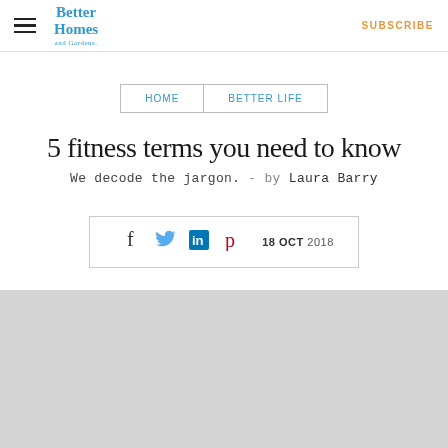Better Homes and Gardens — SUBSCRIBE
HOME | BETTER LIFE
5 fitness terms you need to know
We decode the jargon. - by Laura Barry
18 OCT 2018
[Figure (photo): Grey placeholder image area for article photo]